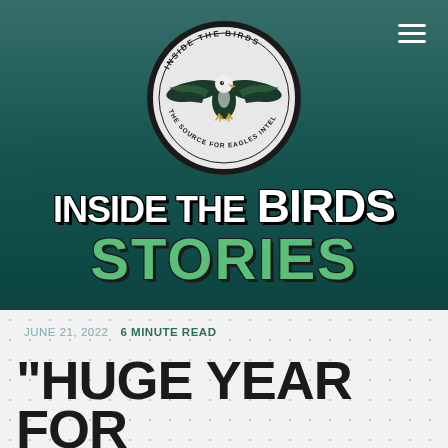[Figure (logo): Inside The Birds circular logo with eagle graphic and text 'INSIDE THE BIRDS - THE SOURCE FOR EAGLES INTEL']
INSIDE THE BIRDS STORIES
JUNE 21, 2022  6 MINUTE READ
“HUGE YEAR FOR